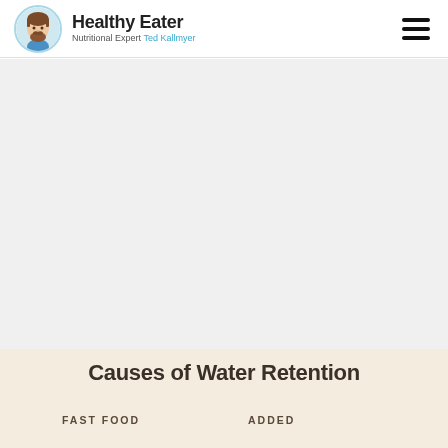Healthy Eater — Nutritional Expert Ted Kallmyer
[Figure (illustration): Circular avatar illustration of a bearded man with brown hair, styled as a cartoon/illustrated portrait with a light blue circular border, serving as the Healthy Eater logo.]
Causes of Water Retention
FAST FOOD
ADDED